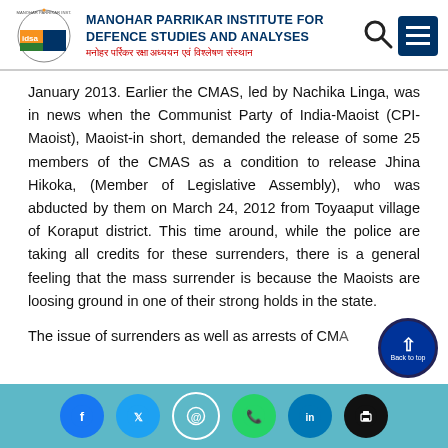MANOHAR PARRIKAR INSTITUTE FOR DEFENCE STUDIES AND ANALYSES | मनोहर पर्रिकर रक्षा अध्ययन एवं विश्लेषण संस्थान
January 2013. Earlier the CMAS, led by Nachika Linga, was in news when the Communist Party of India-Maoist (CPI-Maoist), Maoist-in short, demanded the release of some 25 members of the CMAS as a condition to release Jhina Hikoka, (Member of Legislative Assembly), who was abducted by them on March 24, 2012 from Toyaaput village of Koraput district. This time around, while the police are taking all credits for these surrenders, there is a general feeling that the mass surrender is because the Maoists are loosing ground in one of their strong holds in the state.
The issue of surrenders as well as arrests of CMA...
Social share icons: Facebook, Twitter, Email, WhatsApp, LinkedIn, Print